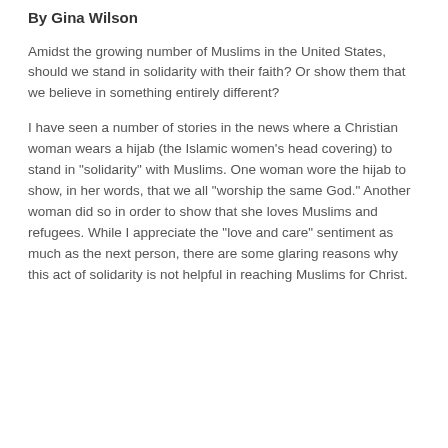By Gina Wilson
Amidst the growing number of Muslims in the United States, should we stand in solidarity with their faith? Or show them that we believe in something entirely different?
I have seen a number of stories in the news where a Christian woman wears a hijab (the Islamic women's head covering) to stand in "solidarity" with Muslims. One woman wore the hijab to show, in her words, that we all "worship the same God." Another woman did so in order to show that she loves Muslims and refugees. While I appreciate the "love and care" sentiment as much as the next person, there are some glaring reasons why this act of solidarity is not helpful in reaching Muslims for Christ.